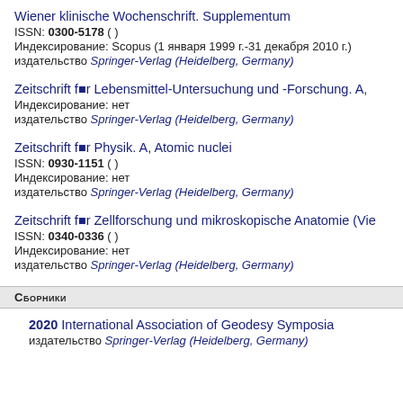Wiener klinische Wochenschrift. Supplementum
ISSN: 0300-5178 ( )
Индексирование: Scopus (1 января 1999 г.-31 декабря 2010 г.)
издательство Springer-Verlag (Heidelberg, Germany)
Zeitschrift f■r Lebensmittel-Untersuchung und -Forschung. A,
Индексирование: нет
издательство Springer-Verlag (Heidelberg, Germany)
Zeitschrift f■r Physik. A, Atomic nuclei
ISSN: 0930-1151 ( )
Индексирование: нет
издательство Springer-Verlag (Heidelberg, Germany)
Zeitschrift f■r Zellforschung und mikroskopische Anatomie (Vie
ISSN: 0340-0336 ( )
Индексирование: нет
издательство Springer-Verlag (Heidelberg, Germany)
Сборники
2020 International Association of Geodesy Symposia
издательство Springer-Verlag (Heidelberg, Germany)